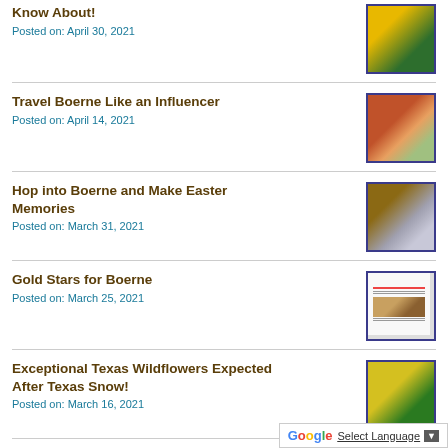Know About!
Posted on: April 30, 2021
Travel Boerne Like an Influencer
Posted on: April 14, 2021
Hop into Boerne and Make Easter Memories
Posted on: March 31, 2021
Gold Stars for Boerne
Posted on: March 25, 2021
Exceptional Texas Wildflowers Expected After Texas Snow!
Posted on: March 16, 2021
Find Your Irish Roots in Boerne!
Posted on: March 12, 2021